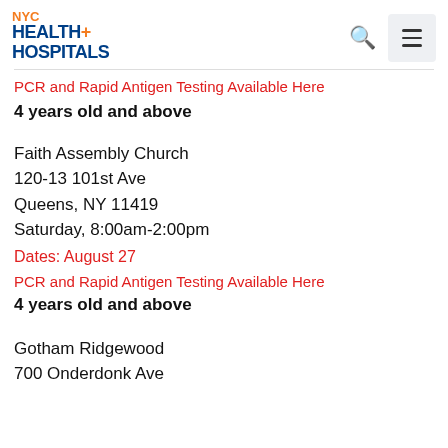[Figure (logo): NYC Health + Hospitals logo]
PCR and Rapid Antigen Testing Available Here
4 years old and above
Faith Assembly Church
120-13 101st Ave
Queens, NY 11419
Saturday, 8:00am-2:00pm
Dates: August 27
PCR and Rapid Antigen Testing Available Here
4 years old and above
Gotham Ridgewood
700 Onderdonk Ave